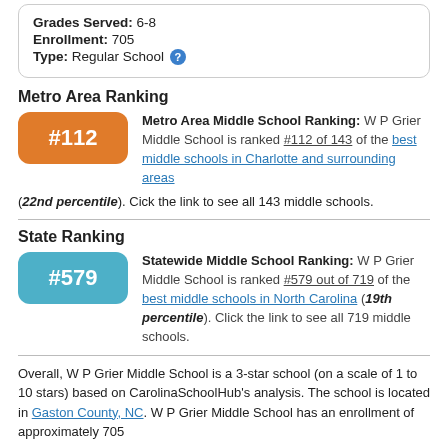Grades Served: 6-8
Enrollment: 705
Type: Regular School
Metro Area Ranking
Metro Area Middle School Ranking: W P Grier Middle School is ranked #112 of 143 of the best middle schools in Charlotte and surrounding areas (22nd percentile). Cick the link to see all 143 middle schools.
State Ranking
Statewide Middle School Ranking: W P Grier Middle School is ranked #579 out of 719 of the best middle schools in North Carolina (19th percentile). Click the link to see all 719 middle schools.
Overall, W P Grier Middle School is a 3-star school (on a scale of 1 to 10 stars) based on CarolinaSchoolHub's analysis. The school is located in Gaston County, NC. W P Grier Middle School has an enrollment of approximately 705